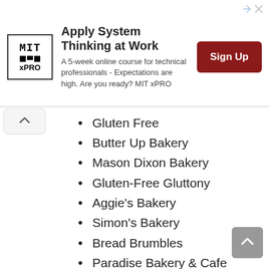[Figure (infographic): MIT xPRO advertisement banner with logo, text 'Apply System Thinking at Work - A 5-week online course for technical professionals - Expectations are high. Are you ready? MIT xPRO' and a red 'Sign Up' button]
Gluten Free
Butter Up Bakery
Mason Dixon Bakery
Gluten-Free Gluttony
Aggie's Bakery
Simon's Bakery
Bread Brumbles
Paradise Bakery & Cafe
Cookie Cutter Club
The Griddle
Cake Shop Anxiety
Bakery Makes
Tooyum Bread
Bagel Deli